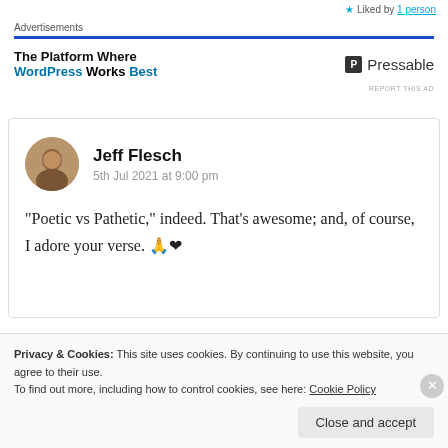Liked by 1 person
Advertisements
[Figure (other): Pressable advertisement banner: 'The Platform Where WordPress Works Best' with Pressable logo]
Jeff Flesch
5th Jul 2021 at 9:00 pm
“Poetic vs Pathetic,” indeed. That’s awesome; and, of course, I adore your verse. 🙏❤️
Privacy & Cookies: This site uses cookies. By continuing to use this website, you agree to their use.
To find out more, including how to control cookies, see here: Cookie Policy